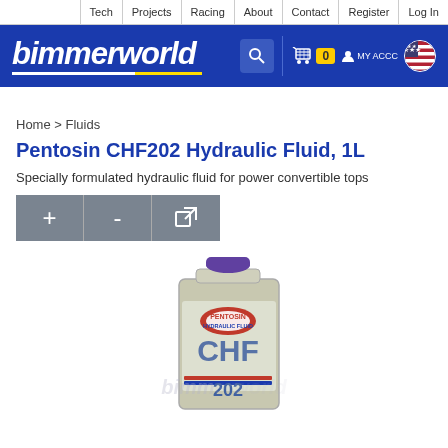Tech | Projects | Racing | About | Contact | Register | Log In
[Figure (logo): BimmerWorld logo in white italic text on blue background with search icon, cart (0), MY ACCT and US flag]
Home > Fluids
Pentosin CHF202 Hydraulic Fluid, 1L
Specially formulated hydraulic fluid for power convertible tops
[Figure (photo): Pentosin CHF 202 hydraulic fluid 1L rectangular metal can with purple cap, CHF 202 label visible, bimmerworld watermark overlaid]